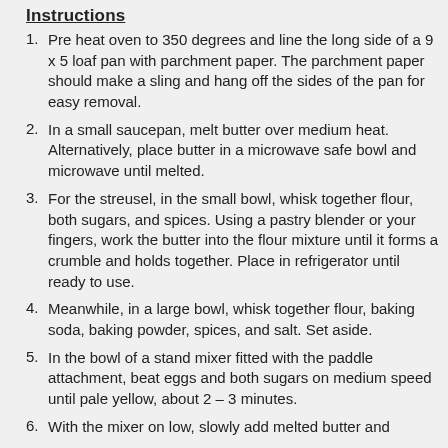Instructions
Pre heat oven to 350 degrees and line the long side of a 9 x 5 loaf pan with parchment paper. The parchment paper should make a sling and hang off the sides of the pan for easy removal.
In a small saucepan, melt butter over medium heat. Alternatively, place butter in a microwave safe bowl and microwave until melted.
For the streusel, in the small bowl, whisk together flour, both sugars, and spices. Using a pastry blender or your fingers, work the butter into the flour mixture until it forms a crumble and holds together. Place in refrigerator until ready to use.
Meanwhile, in a large bowl, whisk together flour, baking soda, baking powder, spices, and salt. Set aside.
In the bowl of a stand mixer fitted with the paddle attachment, beat eggs and both sugars on medium speed until pale yellow, about 2 – 3 minutes.
With the mixer on low, slowly add melted butter and